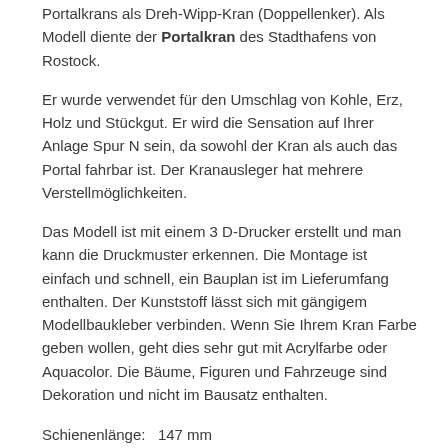Portalkrans als Dreh-Wipp-Kran (Doppellenker). Als Modell diente der Portalkran des Stadthafens von Rostock.
Er wurde verwendet für den Umschlag von Kohle, Erz, Holz und Stückgut. Er wird die Sensation auf Ihrer Anlage Spur N sein, da sowohl der Kran als auch das Portal fahrbar ist. Der Kranausleger hat mehrere Verstellmöglichkeiten.
Das Modell ist mit einem 3 D-Drucker erstellt und man kann die Druckmuster erkennen. Die Montage ist einfach und schnell, ein Bauplan ist im Lieferumfang enthalten. Der Kunststoff lässt sich mit gängigem Modellbaukleber verbinden. Wenn Sie Ihrem Kran Farbe geben wollen, geht dies sehr gut mit Acrylfarbe oder Aquacolor. Die Bäume, Figuren und Fahrzeuge sind Dekoration und nicht im Bausatz enthalten.
Schienenlänge:   147 mm
Portalkran Maße: L x B x H: ca. 180 x 52 x 155 mm
Insgesamt liefern wir Ihnen 64 Teile als 3D-Druck und ein Stück Rundmaterial für die Achsen und Wellen.